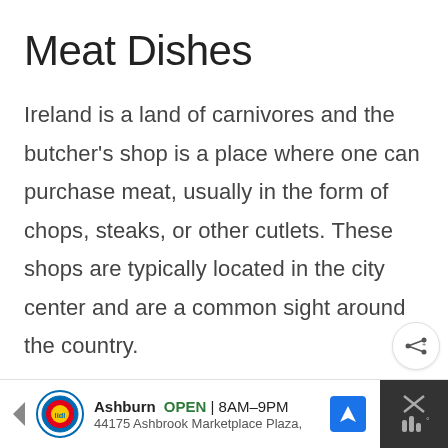Meat Dishes
Ireland is a land of carnivores and the butcher’s shop is a place where one can purchase meat, usually in the form of chops, steaks, or other cutlets. These shops are typically located in the city center and are a common sight around the country.
Beef
[Figure (other): Like/heart button with teal circular background showing heart icon, like count 27, and share button below]
[Figure (other): Advertisement bar: Lidl store in Ashburn, OPEN 8AM-9PM, 44175 Ashbrook Marketplace Plaza, with navigation icon and dark panel on right]